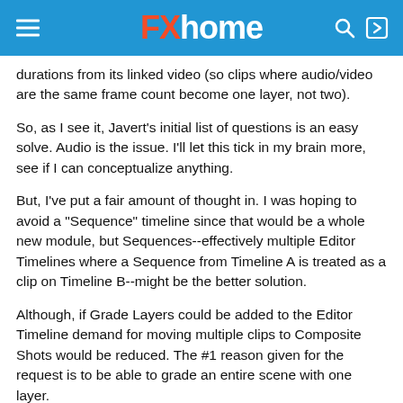FXhome
durations from its linked video (so clips where audio/video are the same frame count become one layer, not two).
So, as I see it, Javert's initial list of questions is an easy solve. Audio is the issue. I'll let this tick in my brain more, see if I can conceptualize anything.
But, I've put a fair amount of thought in. I was hoping to avoid a "Sequence" timeline since that would be a whole new module, but Sequences--effectively multiple Editor Timelines where a Sequence from Timeline A is treated as a clip on Timeline B--might be the better solution.
Although, if Grade Layers could be added to the Editor Timeline demand for moving multiple clips to Composite Shots would be reduced. The #1 reason given for the request is to be able to grade an entire scene with one layer.